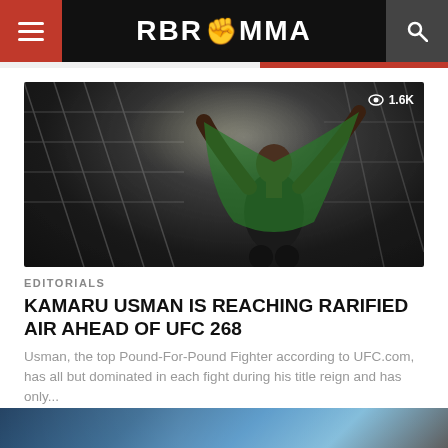RBR MMA
[Figure (photo): MMA fighter Kamaru Usman celebrating inside the UFC octagon cage, holding a flag, with cage fencing visible in the background. View count badge showing 1.6K in top right corner.]
EDITORIALS
KAMARU USMAN IS REACHING RARIFIED AIR AHEAD OF UFC 268
Usman, the top Pound-For-Pound Fighter according to UFC.com, has all but dominated in each fight during his title reign and has only...
[Figure (photo): Bottom strip of another article image, partially visible at bottom of page.]